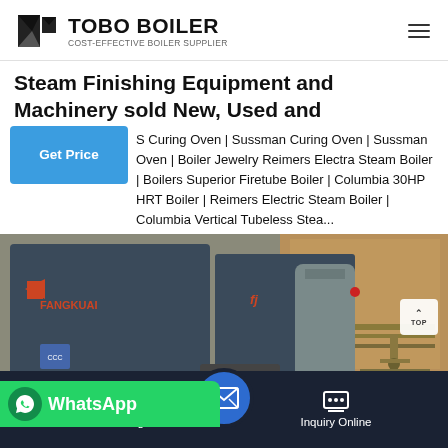TOBO BOILER — COST-EFFECTIVE BOILER SUPPLIER
Steam Finishing Equipment and Machinery sold New, Used and
S Curing Oven | Sussman Curing Oven | Sussman Oven | Boiler Jewelry Reimers Electra Steam Boiler | Boilers Superior Firetube Boiler | Columbia 30HP HRT Boiler | Reimers Electric Steam Boiler | Columbia Vertical Tubeless Stea...
[Figure (photo): Industrial boiler equipment photo showing multiple large dark blue boiler units and cylindrical tanks in a facility, with Fangkuai branding visible on the left boiler.]
Send Message   Inquiry Online